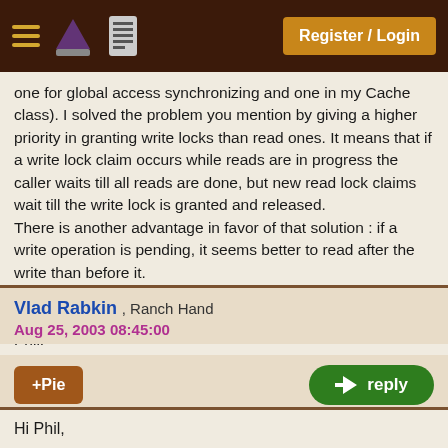Register / Login
one for global access synchronizing and one in my Cache class). I solved the problem you mention by giving a higher priority in granting write locks than read ones. It means that if a write lock claim occurs while reads are in progress the caller waits till all reads are done, but new read lock claims wait till the write lock is granted and released.
There is another advantage in favor of that solution : if a write operation is pending, it seems better to read after the write than before it.
But I now read that it's what Vlad does too... 🙂
Best,
Phil.
Vlad Rabkin , Ranch Hand
Aug 25, 2003 08:45:00
Hi Phil,